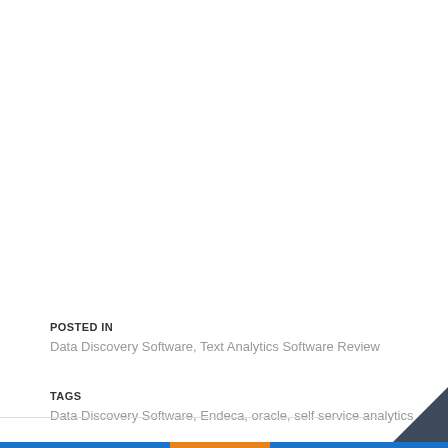POSTED IN
Data Discovery Software, Text Analytics Software Review
TAGS
Data Discovery Software, Endeca, oracle, self service analytics